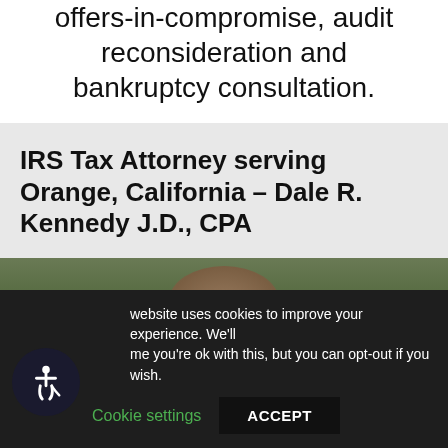offers-in-compromise, audit reconsideration and bankruptcy consultation.
IRS Tax Attorney serving Orange, California – Dale R. Kennedy J.D., CPA
[Figure (photo): Partial view of a person's head with greenery/foliage in the background]
website uses cookies to improve your experience. We'll me you're ok with this, but you can opt-out if you wish.
Cookie settings   ACCEPT